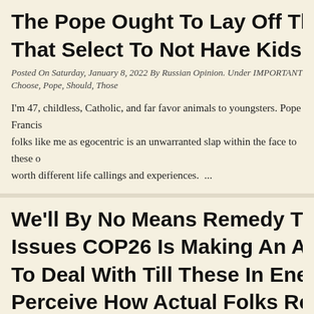The Pope Ought To Lay Off Those That Select To Not Have Kids
Posted On Saturday, January 8, 2022 By Russian Opinion. Under IMPORTANT Tags: Choose, Pope, Should, Those
I'm 47, childless, Catholic, and far favor animals to youngsters. Pope Francis calling folks like me as egocentric is an unwarranted slap within the face to these of worth different life callings and experiences.  ...
We'll By No Means Remedy The Issues COP26 Is Making An Attempt To Deal With Till These In Energy Perceive How Actual Folks Really Stay
Posted On Tuesday, November 2, 2021 By Russian Opinion. Under IMPORTANT Address, COP26, Live, Never, People, power, problems, real, solve, those, trying,